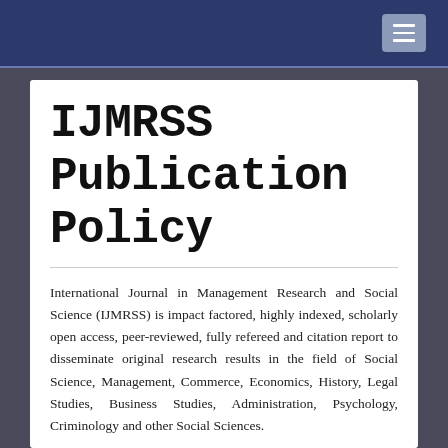IJMRSS Publication Policy
International Journal in Management Research and Social Science (IJMRSS) is impact factored, highly indexed, scholarly open access, peer-reviewed, fully refereed and citation report to disseminate original research results in the field of Social Science, Management, Commerce, Economics, History, Legal Studies, Business Studies, Administration, Psychology, Criminology and other Social Sciences.